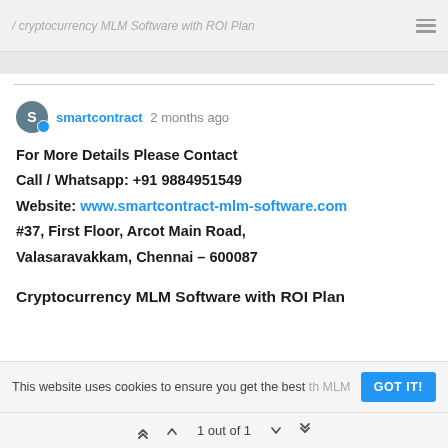cryptocurrency MLM Software with ROI Plan
smartcontract 2 months ago
For More Details Please Contact
Call / Whatsapp: +91 9884951549
Website: www.smartcontract-mlm-software.com
#37, First Floor, Arcot Main Road,
Valasaravakkam, Chennai – 600087
Cryptocurrency MLM Software with ROI Plan
This website uses cookies to ensure you get the best
1 out of 1